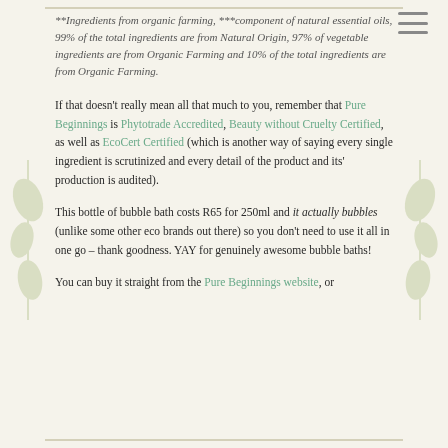**Ingredients from organic farming, ***component of natural essential oils, 99% of the total ingredients are from Natural Origin, 97% of vegetable ingredients are from Organic Farming and 10% of the total ingredients are from Organic Farming.
If that doesn't really mean all that much to you, remember that Pure Beginnings is Phytotrade Accredited, Beauty without Cruelty Certified, as well as EcoCert Certified (which is another way of saying every single ingredient is scrutinized and every detail of the product and its' production is audited).
This bottle of bubble bath costs R65 for 250ml and it actually bubbles (unlike some other eco brands out there) so you don't need to use it all in one go – thank goodness. YAY for genuinely awesome bubble baths!
You can buy it straight from the Pure Beginnings website, or